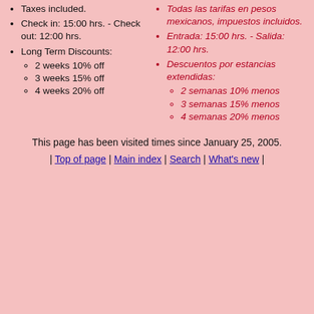Taxes included.
Check in: 15:00 hrs. - Check out: 12:00 hrs.
Long Term Discounts:
2 weeks 10% off
3 weeks 15% off
4 weeks 20% off
Todas las tarifas en pesos mexicanos, impuestos incluidos.
Entrada: 15:00 hrs. - Salida: 12:00 hrs.
Descuentos por estancias extendidas:
2 semanas 10% menos
3 semanas 15% menos
4 semanas 20% menos
This page has been visited times since January 25, 2005.
| Top of page | Main index | Search | What's new |